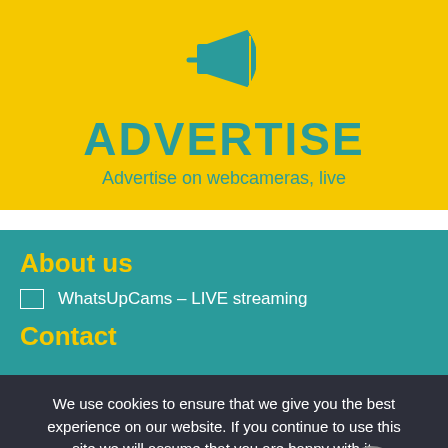[Figure (illustration): Megaphone/loudspeaker icon in teal color on yellow background]
ADVERTISE
Advertise on webcameras, live
About us
WhatsUpCams – LIVE streaming
Contact
We use cookies to ensure that we give you the best experience on our website. If you continue to use this site we will assume that you are happy with it.